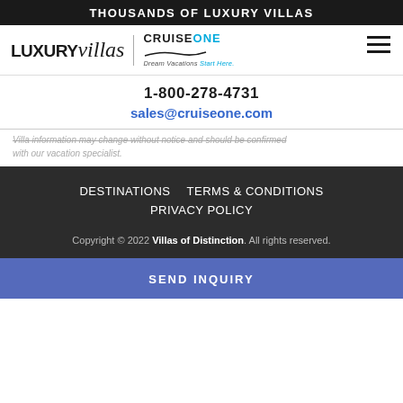THOUSANDS OF LUXURY VILLAS
[Figure (logo): LUXURY villas logo combined with CruiseOne Dream Vacations Start Here logo, with hamburger menu icon on right]
1-800-278-4731
sales@cruiseone.com
Villa information may change without notice and should be confirmed with our vacation specialist.
DESTINATIONS
TERMS & CONDITIONS
PRIVACY POLICY
Copyright © 2022 Villas of Distinction. All rights reserved.
SEND INQUIRY